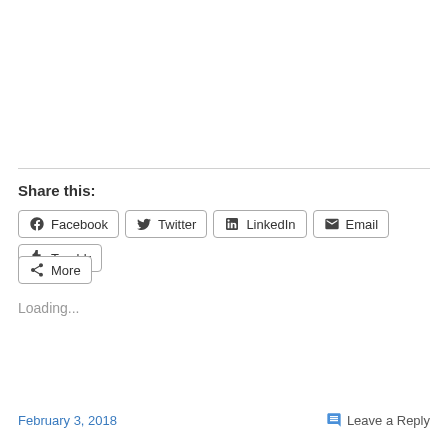Share this:
Facebook  Twitter  LinkedIn  Email  Tumblr  More
Loading...
February 3, 2018     Leave a Reply